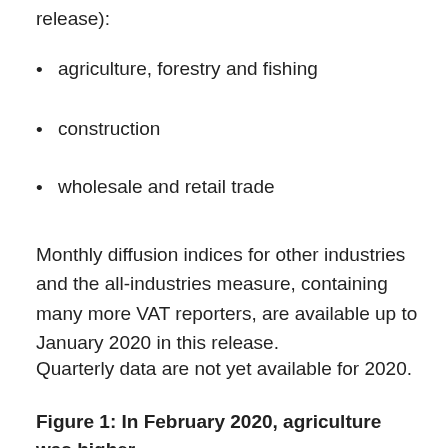release):
agriculture, forestry and fishing
construction
wholesale and retail trade
Monthly diffusion indices for other industries and the all-industries measure, containing many more VAT reporters, are available up to January 2020 in this release.
Quarterly data are not yet available for 2020.
Figure 1: In February 2020, agriculture was higher